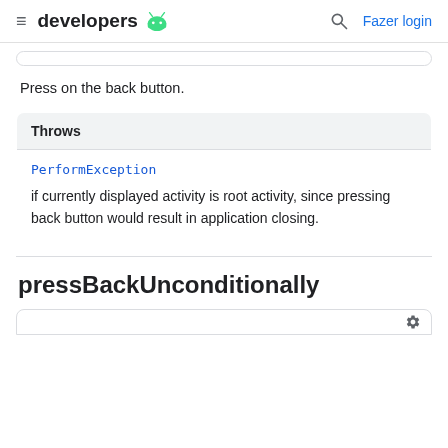developers  [Android logo]  [Search icon]  Fazer login
Press on the back button.
| Throws |
| --- |
| PerformException | if currently displayed activity is root activity, since pressing back button would result in application closing. |
pressBackUnconditionally